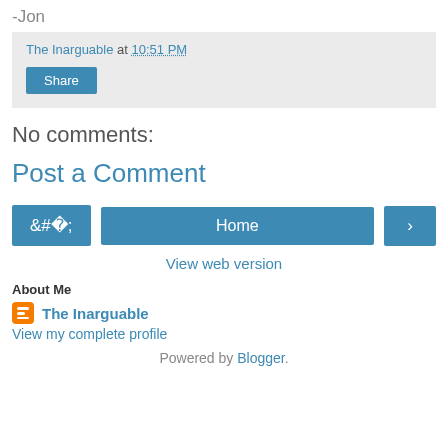-Jon
The Inarguable at 10:51 PM
Share
No comments:
Post a Comment
‹  Home  ›
View web version
About Me
The Inarguable
View my complete profile
Powered by Blogger.